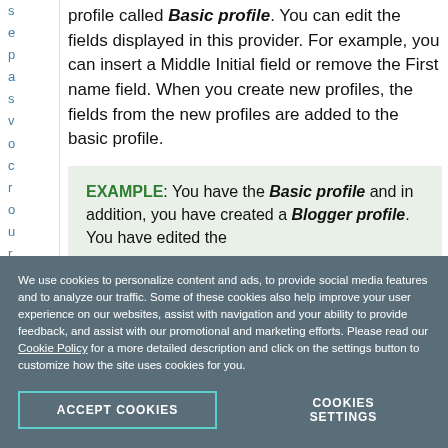profile called Basic profile. You can edit the fields displayed in this provider. For example, you can insert a Middle Initial field or remove the First name field. When you create new profiles, the fields from the new profiles are added to the basic profile.
EXAMPLE: You have the Basic profile and in addition, you have created a Blogger profile. You have edited the
We use cookies to personalize content and ads, to provide social media features and to analyze our traffic. Some of these cookies also help improve your user experience on our websites, assist with navigation and your ability to provide feedback, and assist with our promotional and marketing efforts. Please read our Cookie Policy for a more detailed description and click on the settings button to customize how the site uses cookies for you.
ACCEPT COOKIES
COOKIES SETTINGS